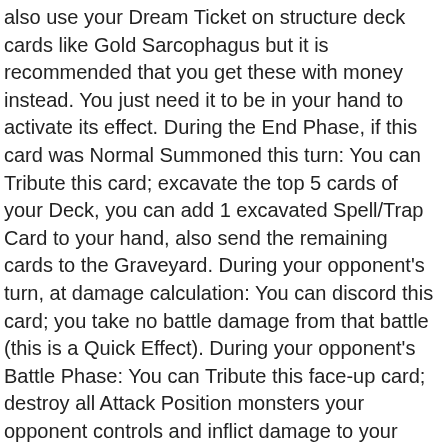also use your Dream Ticket on structure deck cards like Gold Sarcophagus but it is recommended that you get these with money instead. You just need it to be in your hand to activate its effect. During the End Phase, if this card was Normal Summoned this turn: You can Tribute this card; excavate the top 5 cards of your Deck, you can add 1 excavated Spell/Trap Card to your hand, also send the remaining cards to the Graveyard. During your opponent's turn, at damage calculation: You can discord this card; you take no battle damage from that battle (this is a Quick Effect). During your opponent's Battle Phase: You can Tribute this face-up card; destroy all Attack Position monsters your opponent controls and inflict damage to your opponent equal to the combined original ATK of those destroyed monster(s). Today we're taking a look at the new Train Your Kuriboh Event! congratulations on get sperm on your first try. Like I say in the title: this Box(es) slowdown is ok for me. You can remove the ads and support us directly by becoming a DLM Pro member. Sphere Kuriboh. You can then use Detonate, destroy